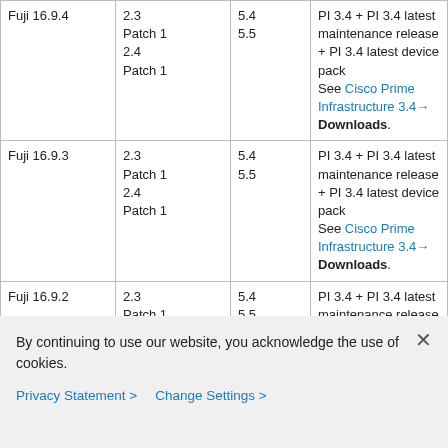| Fuji 16.9.4 | 2.3
Patch 1
2.4
Patch 1 | 5.4
5.5 | PI 3.4 + PI 3.4 latest maintenance release + PI 3.4 latest device pack
See Cisco Prime Infrastructure 3.4→ Downloads. |
| Fuji 16.9.3 | 2.3
Patch 1
2.4
Patch 1 | 5.4
5.5 | PI 3.4 + PI 3.4 latest maintenance release + PI 3.4 latest device pack
See Cisco Prime Infrastructure 3.4→ Downloads. |
| Fuji 16.9.2 | 2.3
Patch 1
2.4
Patch 1 | 5.4
5.5 | PI 3.4 + PI 3.4 latest maintenance release + PI 3.4 latest device pack
See Cisco Prime... |
By continuing to use our website, you acknowledge the use of cookies.
Privacy Statement > Change Settings >